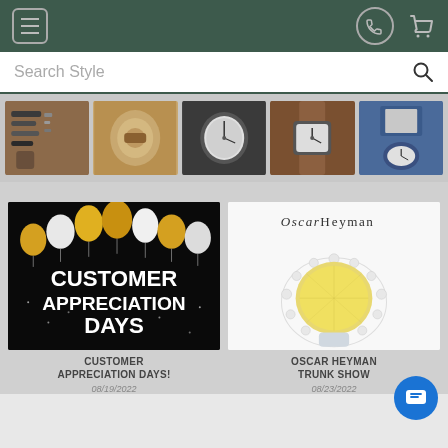Navigation bar with menu, phone, and cart icons
Search Style
[Figure (photo): Horizontal strip of five watch-related thumbnail images: watch straps/parts, watch clasp closeup, silver watch face, brown leather strap watch, blue leather strap watch]
[Figure (photo): Customer Appreciation Days promotional image with gold and white balloons on black background with bold white text reading CUSTOMER APPRECIATION DAYS]
CUSTOMER APPRECIATION DAYS!
08/19/2022
[Figure (photo): Oscar Heyman branded image showing a large yellow diamond ring with diamond halo on white background with Oscar Heyman logo]
OSCAR HEYMAN TRUNK SHOW
08/23/2022